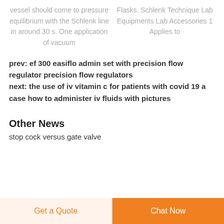vessel should come to pressure equilibrium with the Schlenk line in around 30 s. One application of vacuum
Flasks. Schlenk Technique Lab Equipments Lab Accessories 1 Applies to
prev: ef 300 easiflo admin set with precision flow regulator precision flow regulators
next: the use of iv vitamin c for patients with covid 19 a case how to administer iv fluids with pictures
Other News
stop cock versus gate valve
Get a Quote   Chat Now